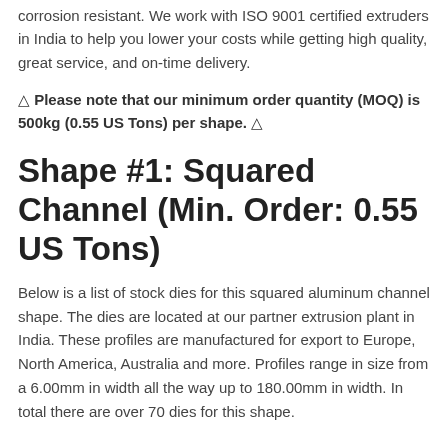corrosion resistant. We work with ISO 9001 certified extruders in India to help you lower your costs while getting high quality, great service, and on-time delivery.
⚠ Please note that our minimum order quantity (MOQ) is 500kg (0.55 US Tons) per shape. ⚠
Shape #1: Squared Channel (Min. Order: 0.55 US Tons)
Below is a list of stock dies for this squared aluminum channel shape. The dies are located at our partner extrusion plant in India. These profiles are manufactured for export to Europe, North America, Australia and more. Profiles range in size from a 6.00mm in width all the way up to 180.00mm in width. In total there are over 70 dies for this shape.